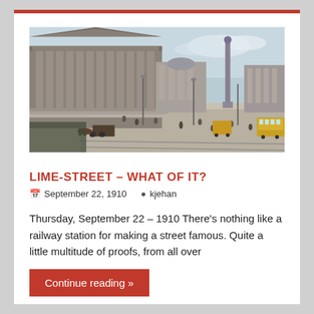[Figure (photo): Historical postcard-style photograph of Lime Street, Liverpool, circa 1910, showing a large neoclassical building (St George's Hall) with columns on the left, a tall column/monument in the center-right background, and a busy street scene with pedestrians, horse-drawn vehicles, and early trams.]
LIME-STREET – WHAT OF IT?
September 22, 1910    kjehan
Thursday, September 22 – 1910 There's nothing like a railway station for making a street famous. Quite a little multitude of proofs, from all over
Continue reading »